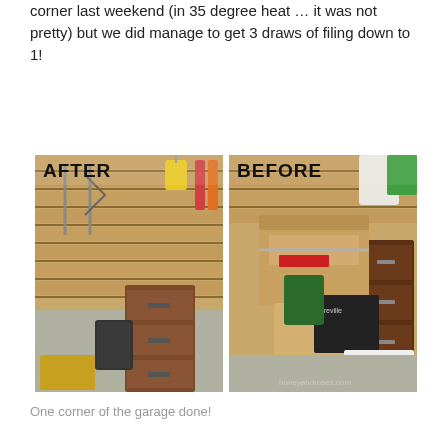corner last weekend (in 35 degree heat … it was not pretty) but we did manage to get 3 draws of filing down to 1!
[Figure (photo): Side-by-side AFTER and BEFORE photos of a garage corner. AFTER shows a tidy brick wall with tools hanging and a single wooden filing cabinet. BEFORE shows the same corner cluttered with cardboard boxes, stacked items, and multiple wooden filing cabinets.]
One corner of the garage done!